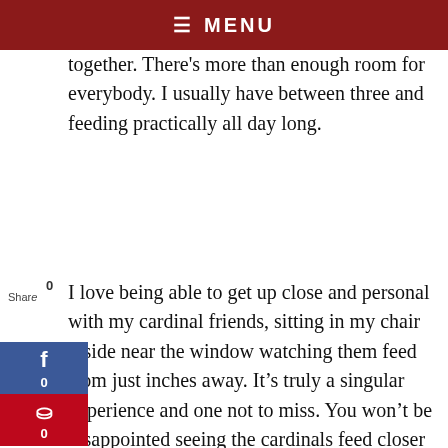≡ MENU
together. There's more than enough room for everybody. I usually have between three and feeding practically all day long.
I love being able to get up close and personal with my cardinal friends, sitting in my chair inside near the window watching them feed from just inches away. It's truly a singular experience and one not to miss. You won't be disappointed seeing the cardinals feed closer than you've ever been before.
[Figure (screenshot): Advertisement banner with black background showing 'We believe the global' text, a green CONTACT US button, and ad controls. Below: 'We Provide Chiral Compounds, Custom Chiral Synthesis Services To Meet Any Research Needs' with Ad label.]